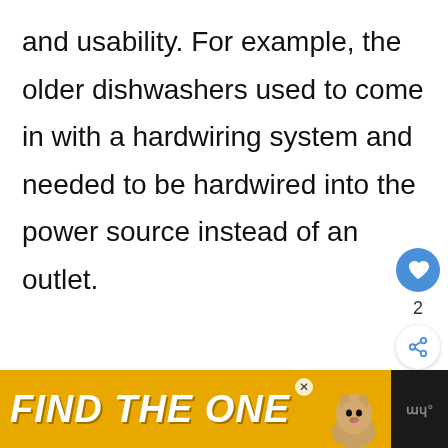and usability. For example, the older dishwashers used to come in with a hardwiring system and needed to be hardwired into the power source instead of an outlet.
[Figure (screenshot): Social media interaction buttons: a blue circular heart/like button, a count of 2, and a circular share button with share icon]
[Figure (screenshot): Advertisement banner with black background and yellow section reading 'FIND THE ONE' in bold italic white text with a dog image and close button, plus a dark right panel with logo]